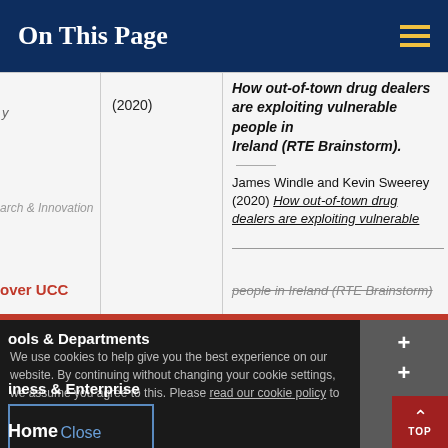On This Page
(2020)
How out-of-town drug dealers are exploiting vulnerable people in Ireland (RTE Brainstorm). James Windle and Kevin Sweerey (2020) How out-of-town drug dealers are exploiting vulnerable people in Ireland (RTE Brainstorm)
Tools & Departments
We use cookies to help give you the best experience on our website. By continuing without changing your cookie settings, we assume you agree to this. Please read our cookie policy to find out more.
Business & Enterprise
Alumni & Development
Close
Home